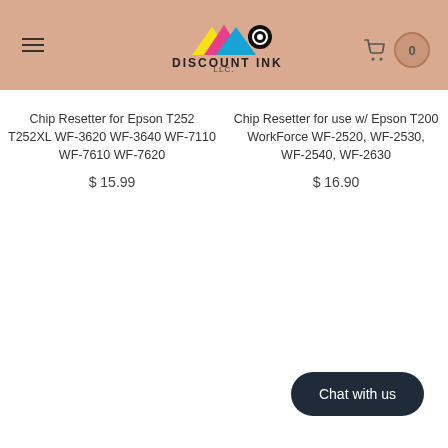DISCOUNT INK LLC.
Chip Resetter for Epson T252 T252XL WF-3620 WF-3640 WF-7110 WF-7610 WF-7620
$ 15.99
Chip Resetter for use w/ Epson T200 WorkForce WF-2520, WF-2530, WF-2540, WF-2630
$ 16.90
Chat with us